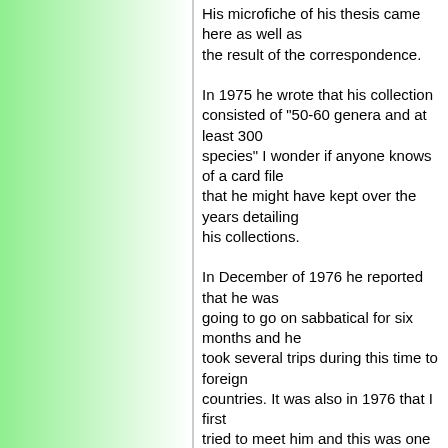His microfiche of his thesis came here as well as the result of the correspondence.

In 1975 he wrote that his collection consisted of "50-60 genera and at least 300 species" I wonder if anyone knows of a card file that he might have kept over the years detailing his collections.

In December of 1976 he reported that he was going to go on sabbatical for six months and he took several trips during this time to foreign countries. It was also in 1976 that I first tried to meet him and this was one of the more memorable events in my involvement with him. On November 4, 1976 he wrote in a letter "Can you not manage, in you "comins and goins" to Central America, to stop over in Miami? I